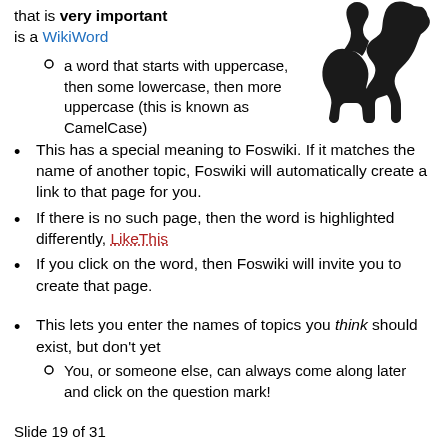that is very important is a WikiWord
[Figure (illustration): Black silhouette of a camel facing left]
a word that starts with uppercase, then some lowercase, then more uppercase (this is known as CamelCase)
This has a special meaning to Foswiki. If it matches the name of another topic, Foswiki will automatically create a link to that page for you.
If there is no such page, then the word is highlighted differently, LikeThis
If you click on the word, then Foswiki will invite you to create that page.
This lets you enter the names of topics you think should exist, but don't yet
You, or someone else, can always come along later and click on the question mark!
Slide 19 of 31